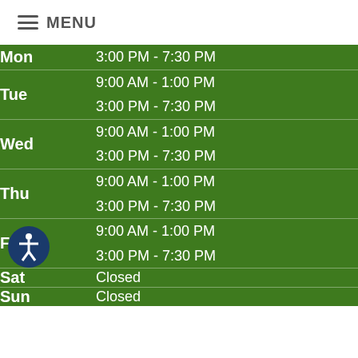MENU
| Day | Hours |
| --- | --- |
| Mon | 3:00 PM - 7:30 PM |
| Tue | 9:00 AM - 1:00 PM
3:00 PM - 7:30 PM |
| Wed | 9:00 AM - 1:00 PM
3:00 PM - 7:30 PM |
| Thu | 9:00 AM - 1:00 PM
3:00 PM - 7:30 PM |
| Fri | 9:00 AM - 1:00 PM
3:00 PM - 7:30 PM |
| Sat | Closed |
| Sun | Closed |